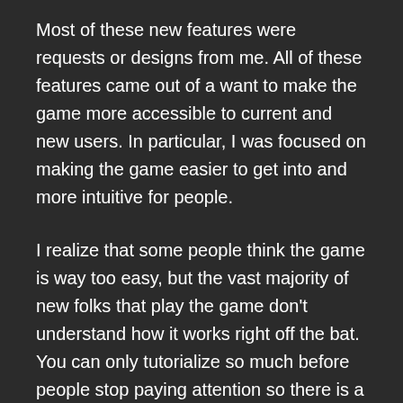Most of these new features were requests or designs from me. All of these features came out of a want to make the game more accessible to current and new users. In particular, I was focused on making the game easier to get into and more intuitive for people.
I realize that some people think the game is way too easy, but the vast majority of new folks that play the game don't understand how it works right off the bat. You can only tutorialize so much before people stop paying attention so there is a fine line to walk. This is an important thing for the team to resolve.